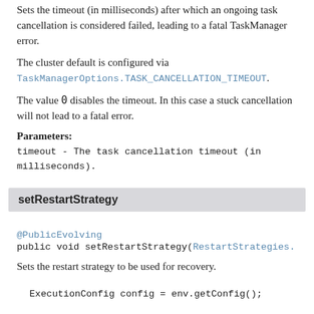Sets the timeout (in milliseconds) after which an ongoing task cancellation is considered failed, leading to a fatal TaskManager error.
The cluster default is configured via TaskManagerOptions.TASK_CANCELLATION_TIMEOUT.
The value 0 disables the timeout. In this case a stuck cancellation will not lead to a fatal error.
Parameters:
timeout - The task cancellation timeout (in milliseconds).
setRestartStrategy
@PublicEvolving
public void setRestartStrategy(RestartStrategies.
Sets the restart strategy to be used for recovery.
ExecutionConfig config = env.getConfig();